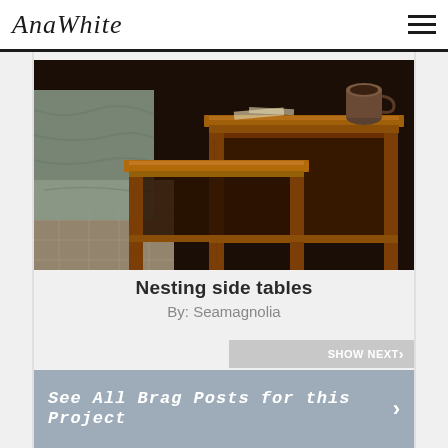AnaWhite
[Figure (photo): Photo of two rustic wooden nesting side tables, with a bed visible on the left and a mug on top of the taller table. Dark warm brown tones.]
Nesting side tables
By: Seamagnolia
Show Next ›
See All Brag Posts for this Project